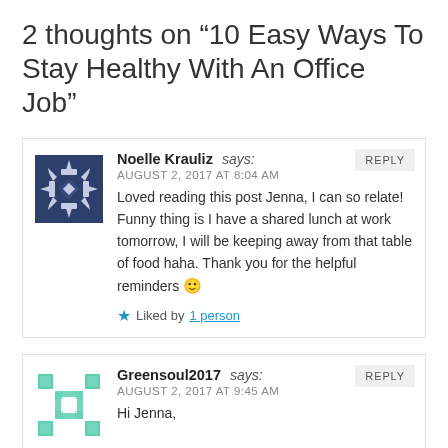2 thoughts on “10 Easy Ways To Stay Healthy With An Office Job”
Noelle Krauliz says:
AUGUST 2, 2017 AT 8:04 AM
Loved reading this post Jenna, I can so relate! Funny thing is I have a shared lunch at work tomorrow, I will be keeping away from that table of food haha. Thank you for the helpful reminders 🙂
★ Liked by 1 person
Greensoul2017 says:
AUGUST 2, 2017 AT 9:45 AM
Hi Jenna,
I'm retired now but one piece of advice I can offer